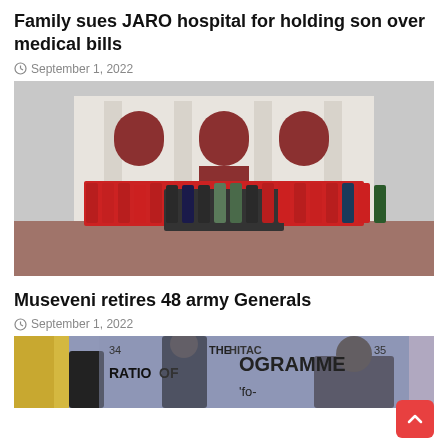Family sues JARO hospital for holding son over medical bills
September 1, 2022
[Figure (photo): Large group photo of military officers in red uniforms with gold trim standing in rows in front of a white building with columns and arched windows. Several civilians in dark suits stand in the center.]
Museveni retires 48 army Generals
September 1, 2022
[Figure (photo): Partial photo showing figures at what appears to be an official event with text reading 'PROGRAMME', 'RATION OF', 'fo-' visible on a banner or screen in the background.]